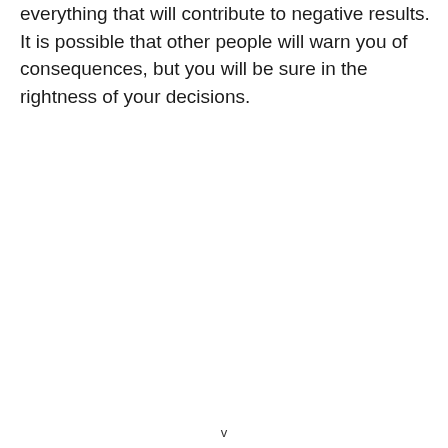everything that will contribute to negative results. It is possible that other people will warn you of consequences, but you will be sure in the rightness of your decisions.
v